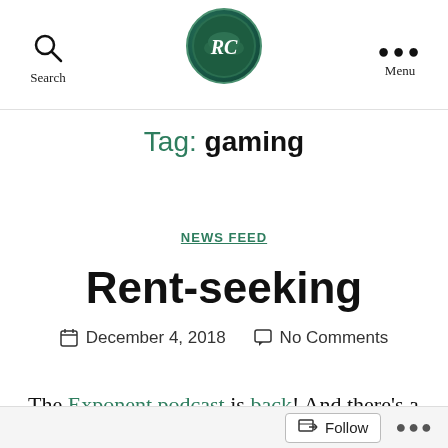Search | RC logo | Menu
Tag: gaming
NEWS FEED
Rent-seeking
December 4, 2018   No Comments
The Exponent podcast is back! And there's a lot of news
Follow ...